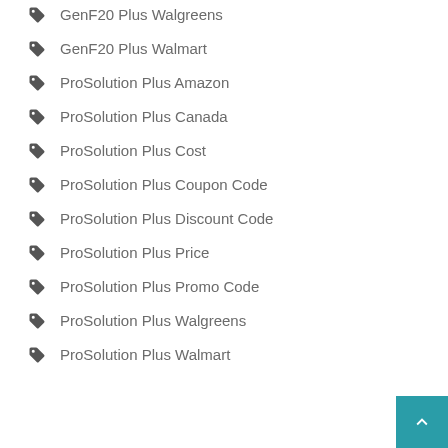GenF20 Plus Walgreens
GenF20 Plus Walmart
ProSolution Plus Amazon
ProSolution Plus Canada
ProSolution Plus Cost
ProSolution Plus Coupon Code
ProSolution Plus Discount Code
ProSolution Plus Price
ProSolution Plus Promo Code
ProSolution Plus Walgreens
ProSolution Plus Walmart